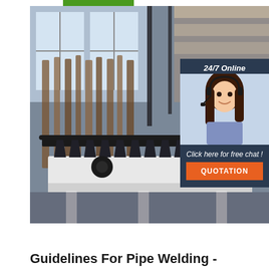[Figure (photo): Industrial factory floor showing a pipe welding machine/conveyor system with black rollers and supports on a white metal frame. Background shows hanging metal pieces and warehouse shelving. Overlaid chat widget in dark blue with '24/7 Online' text, female customer service representative wearing headset, 'Click here for free chat!' text, and orange QUOTATION button.]
Guidelines For Pipe Welding -